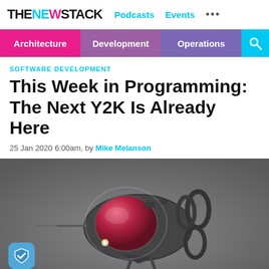THE NEW STACK | Podcasts | Events | ...
Architecture | Development | Operations
SOFTWARE DEVELOPMENT
This Week in Programming: The Next Y2K Is Already Here
25 Jan 2020 6:00am, by Mike Melanson
[Figure (photo): 3D rendered image of a futuristic sci-fi spacecraft or submersible with a red dome cockpit, metallic coiled components, and mechanical appendages on a gray background]